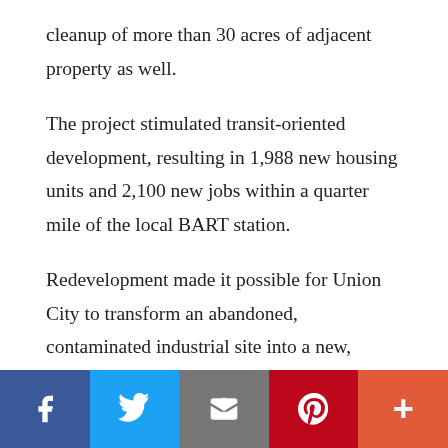cleanup of more than 30 acres of adjacent property as well.
The project stimulated transit-oriented development, resulting in 1,988 new housing units and 2,100 new jobs within a quarter mile of the local BART station.
Redevelopment made it possible for Union City to transform an abandoned, contaminated industrial site into a new, vibrant community. The site now has utilities and complete infrastructure, including roads, sidewalks, landscaping, and drainage. The
[Figure (other): Social sharing bar with icons for Facebook, Twitter, Email, Pinterest, and More (+)]